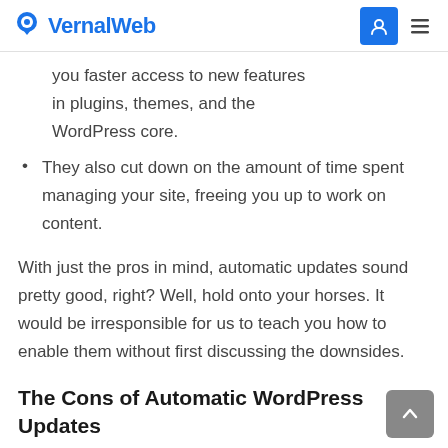VernalWeb
you faster access to new features in plugins, themes, and the WordPress core.
They also cut down on the amount of time spent managing your site, freeing you up to work on content.
With just the pros in mind, automatic updates sound pretty good, right? Well, hold onto your horses. It would be irresponsible for us to teach you how to enable them without first discussing the downsides.
The Cons of Automatic WordPress Updates